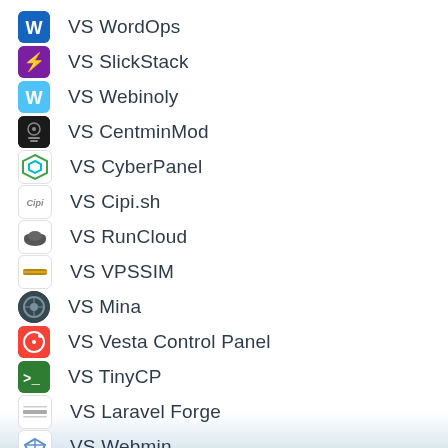VS WordOps
VS SlickStack
VS Webinoly
VS CentminMod
VS CyberPanel
VS Cipi.sh
VS RunCloud
VS VPSSIM
VS Mina
VS Vesta Control Panel
VS TinyCP
VS Laravel Forge
VS Webmin